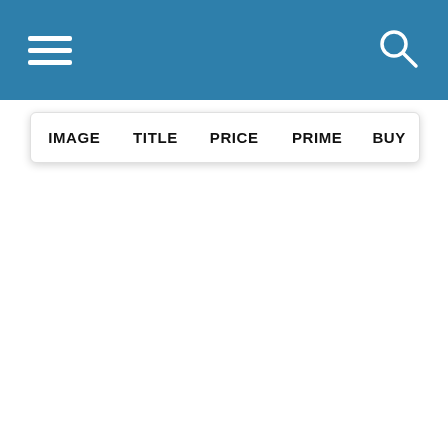Navigation header with hamburger menu and search icon
| IMAGE | TITLE | PRICE | PRIME | BUY |
| --- | --- | --- | --- | --- |